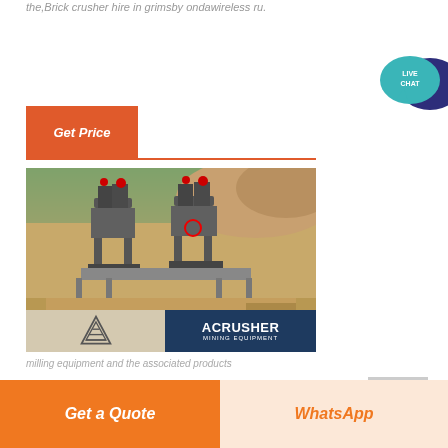the,Brick crusher hire in grimsby ondawireless ru.
[Figure (other): Orange 'Get Price' button with red underline]
[Figure (photo): Mining/quarry site with large crusher machines and dirt terrain. ACRUSHER MINING EQUIPMENT logo banner at bottom.]
partial text line visible below image
[Figure (other): Live Chat speech bubble icon in teal and dark blue on right sidebar]
[Figure (other): Bottom bar with orange 'Get a Quote' button and peach 'WhatsApp' button]